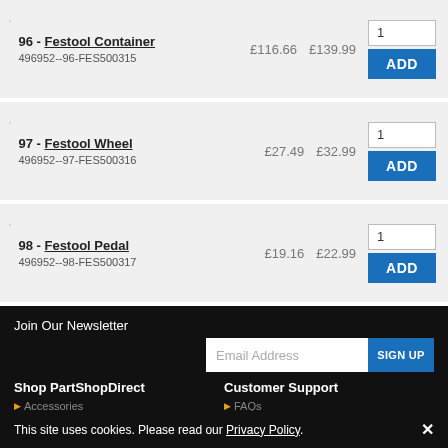96 - Festool Container, 496952--96-FES500315, £116.66, £139.99
97 - Festool Wheel, 496952--97-FES500316, £27.49, £32.99
98 - Festool Pedal, 496952--98-FES500317, £19.16, £22.99
Join Our Newsletter
Email Address
Shop PartShopDirect
Customer Support
Accessories
FAQs
Spare Parts
Payment Methods
This site uses cookies. Please read our Privacy Policy.